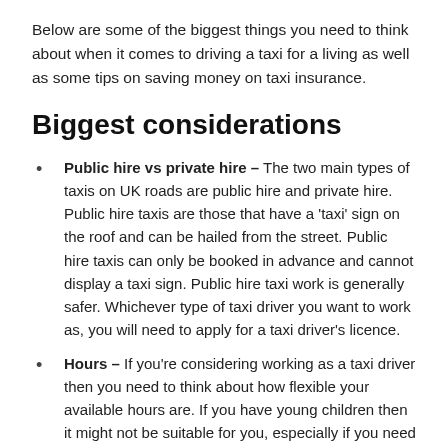Below are some of the biggest things you need to think about when it comes to driving a taxi for a living as well as some tips on saving money on taxi insurance.
Biggest considerations
Public hire vs private hire – The two main types of taxis on UK roads are public hire and private hire. Public hire taxis are those that have a 'taxi' sign on the roof and can be hailed from the street. Public hire taxis can only be booked in advance and cannot display a taxi sign. Public hire taxi work is generally safer. Whichever type of taxi driver you want to work as, you will need to apply for a taxi driver's licence.
Hours – If you're considering working as a taxi driver then you need to think about how flexible your available hours are. If you have young children then it might not be suitable for you, especially if you need to work anti-